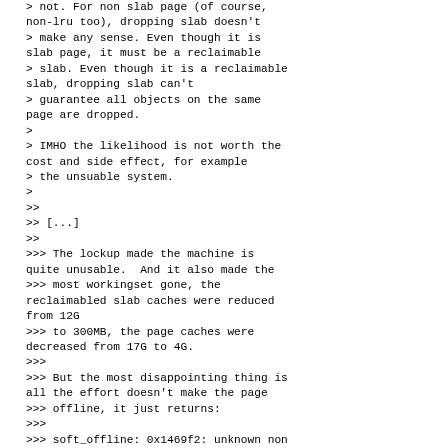> not. For non slab page (of course, non-lru too), dropping slab doesn't
> make any sense. Even though it is slab page, it must be a reclaimable
> slab. Even though it is a reclaimable slab, dropping slab can't
> guarantee all objects on the same page are dropped.
>
> IMHO the likelihood is not worth the cost and side effect, for example
> the unsuable system.
>
>>
>> [...]
>>
>>> The lockup made the machine is quite unusable.  And it also made the
>>> most workingset gone, the reclaimabled slab caches were reduced from 12G
>>> to 300MB, the page caches were decreased from 17G to 4G.
>>>
>>> But the most disappointing thing is all the effort doesn't make the page
>>> offline, it just returns:
>>>
>>> soft_offline: 0x1469f2: unknown non LRU page type 5ffff0000000000 ()
>>>